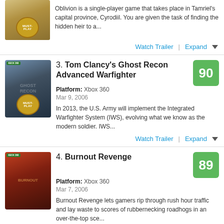Oblivion is a single-player game that takes place in Tamriel's capital province, Cyrodiil. You are given the task of finding the hidden heir to a...
Watch Trailer | Expand
3. Tom Clancy's Ghost Recon Advanced Warfighter
Platform: Xbox 360
Mar 9, 2006
In 2013, the U.S. Army will implement the Integrated Warfighter System (IWS), evolving what we know as the modern soldier. IWS...
Watch Trailer | Expand
4. Burnout Revenge
Platform: Xbox 360
Mar 7, 2006
Burnout Revenge lets gamers rip through rush hour traffic and lay waste to scores of rubbernecking roadhogs in an over-the-top sce...